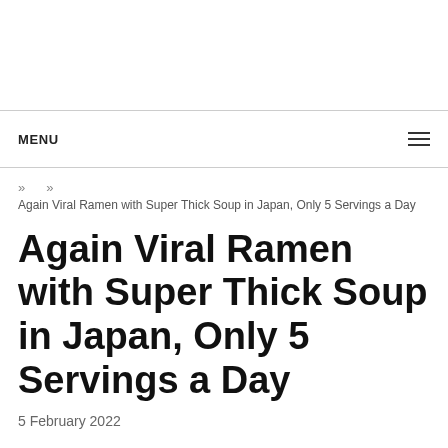MENU
» »
Again Viral Ramen with Super Thick Soup in Japan, Only 5 Servings a Day
Again Viral Ramen with Super Thick Soup in Japan, Only 5 Servings a Day
5 February 2022